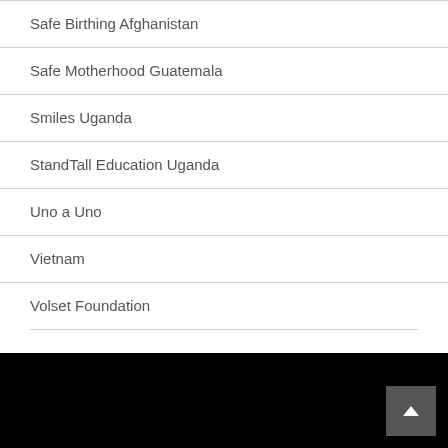Safe Birthing Afghanistan
Safe Motherhood Guatemala
Smiles Uganda
StandTall Education Uganda
Uno a Uno
Vietnam
Volset Foundation